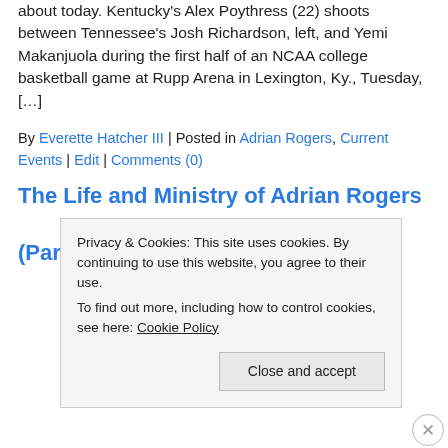about today. Kentucky's Alex Poythress (22) shoots between Tennessee's Josh Richardson, left, and Yemi Makanjuola during the first half of an NCAA college basketball game at Rupp Arena in Lexington, Ky., Tuesday, [...]
By Everette Hatcher III | Posted in Adrian Rogers, Current Events | Edit | Comments (0)
The Life and Ministry of Adrian Rogers (Part 3)
Privacy & Cookies: This site uses cookies. By continuing to use this website, you agree to their use.
To find out more, including how to control cookies, see here: Cookie Policy
Close and accept